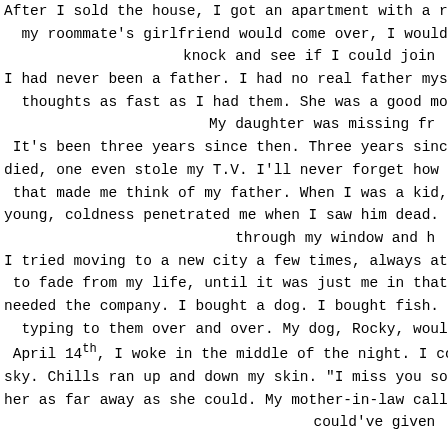After I sold the house, I got an apartment with a roommate. When my roommate's girlfriend would come over, I would get insanely knock and see if I could join I had never been a father. I had no real father myself, but I h thoughts as fast as I had them. She was a good mother; picki My daughter was missing fr It's been three years since then. Three years since they got d died, one even stole my T.V. I'll never forget how I found Jim, that made me think of my father. When I was a kid, my mot young, coldness penetrated me when I saw him dead. I would through my window and h I tried moving to a new city a few times, always at the last mi to fade from my life, until it was just me in that apartment, ar needed the company. I bought a dog. I bought fish. I got some typing to them over and over. My dog, Rocky, would look at April 14th, I woke in the middle of the night. I could hear my sky. Chills ran up and down my skin. "I miss you so much". I s her as far away as she could. My mother-in-law called me one could've given